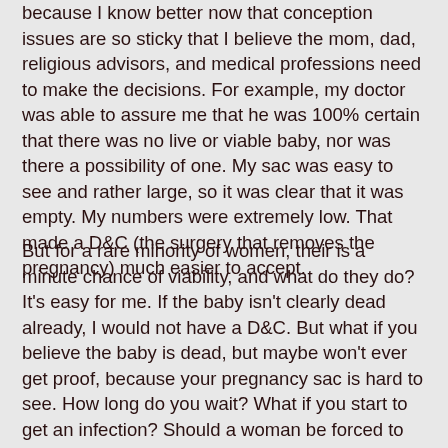because I know better now that conception issues are so sticky that I believe the mom, dad, religious advisors, and medical professions need to make the decisions. For example, my doctor was able to assure me that he was 100% certain that there was no live or viable baby, nor was there a possibility of one. My sac was easy to see and rather large, so it was clear that it was empty. My numbers were extremely low. That made a D&C (the surgery that removes the pregnancy) much easier to accept.
But for a rare minority of women, their is a minute chance of viability, and what do they do? It's easy for me. If the baby isn't clearly dead already, I would not have a D&C. But what if you believe the baby is dead, but maybe won't ever get proof, because your pregnancy sac is hard to see. How long do you wait? What if you start to get an infection? Should a woman be forced to miscarry into a toilet, just because science isn't advanced enough yet to decide if the never-happened-before miracle will happen today? I just don't want to government making those decisions. Let the woman, and her husband, and the doctors, and the Church, and her heart, make those decisions. The government cannot mandate life. Life has to come from the soul.